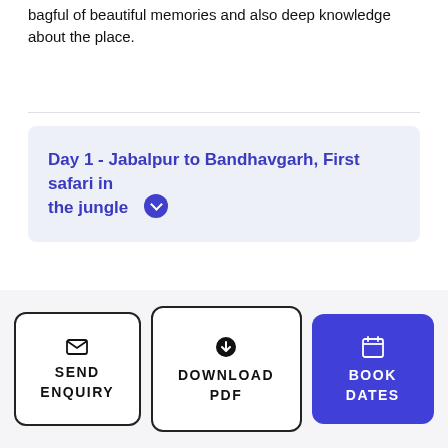bagful of beautiful memories and also deep knowledge about the place.
Day 1 - Jabalpur to Bandhavgarh, First safari in the jungle
Jungle Safari
Orientation Session
[Figure (infographic): Three icons: location/route pin icon, a resort/house with palm trees icon (teal), and a bell/service dome icon (orange)]
SEND ENQUIRY
DOWNLOAD PDF
BOOK DATES